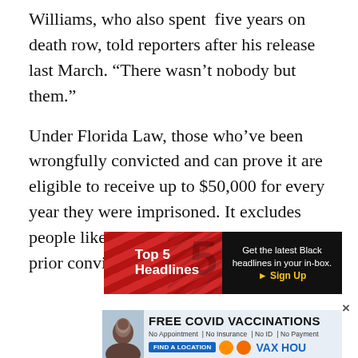Williams, who also spent five years on death row, told reporters after his release last March. “There wasn’t nobody but them.”
Under Florida Law, those who’ve been wrongfully convicted and can prove it are eligible to receive up to $50,000 for every year they were imprisoned. It excludes people like Williams, however, who have prior convictions.
[Figure (infographic): Advertisement banner: Top 5 Headlines - Get the latest Black headlines in your in-box. Sign Up]
[Figure (infographic): Advertisement banner: FREE COVID VACCINATIONS - No Appointment | No Insurance | No ID | No Payment - FIND A LOCATION - VAX HOU]